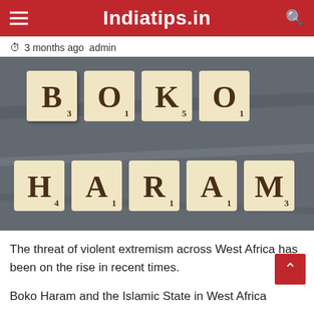Indiatips.in
3 months ago  admin
[Figure (photo): Scrabble tiles arranged on a dark slate background spelling out BOKO HARAM in two rows. Top row: B(3), O(1), K(5), O(1). Bottom row: H(4), A(1), R(1), A(1), M(3).]
The threat of violent extremism across West Africa has been on the rise in recent times.
Boko Haram and the Islamic State in West Africa